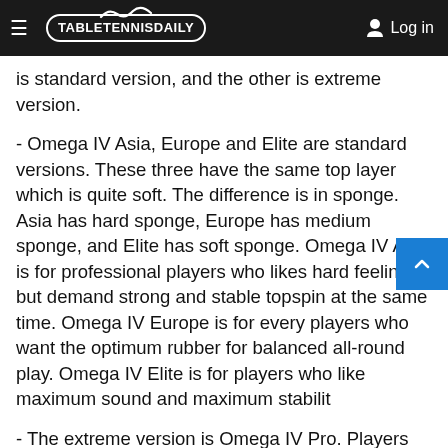TABLETENNISDAILY | Log in
is standard version, and the other is extreme version.
- Omega IV Asia, Europe and Elite are standard versions. These three have the same top layer which is quite soft. The difference is in sponge. Asia has hard sponge, Europe has medium sponge, and Elite has soft sponge. Omega IV Asia is for professional players who likes hard feeling but demand strong and stable topspin at the same time. Omega IV Europe is for every players who want the optimum rubber for balanced all-round play. Omega IV Elite is for players who like maximum sound and maximum stabilit
- The extreme version is Omega IV Pro. Players may feel that the top layer of Omega IV Pro is quite hard. The sponge of Omega IV Pro is slightly softer than that of Omega IV Asia. The mixture of harder top layer and softer sponge produces completely different characteristics."
So for Asia, Europe and Elite the topsheet is the same but